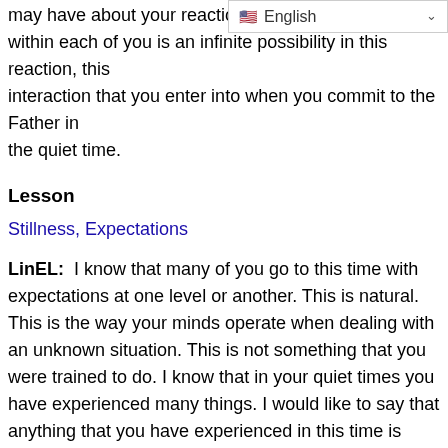may have about your reactions to … it within each of you is an infinite possibility in this reaction, this interaction that you enter into when you commit to the Father in the quiet time.
Lesson
Stillness, Expectations
LinEL:  I know that many of you go to this time with expectations at one level or another. This is natural. This is the way your minds operate when dealing with an unknown situation. This is not something that you were trained to do. I know that in your quiet times you have experienced many things. I would like to say that anything that you have experienced in this time is valuable, is worth considering. Do